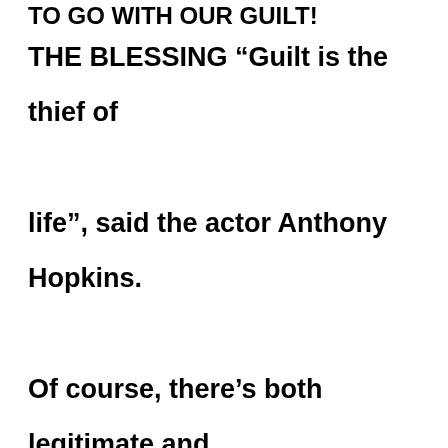TO GO WITH OUR GUILT!
THE BLESSING “Guilt is the thief of life”, said the actor Anthony Hopkins. Of course, there’s both legitimate and illegitimate guilt. We often feel guilty about things that don’t matter. And, more to the point, we seldom feel true guilt about the things that are of God